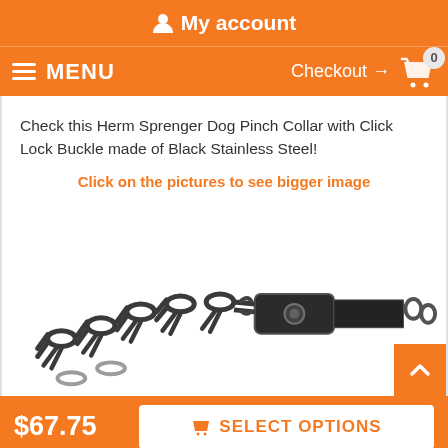My account
MENU   Checkout → 0
Check this Herm Sprenger Dog Pinch Collar with Click Lock Buckle made of Black Stainless Steel!
Click on the pictures to see bigger image
[Figure (photo): Close-up photo of a Herm Sprenger Dog Pinch Collar with Click Lock Buckle made of Black Stainless Steel, showing chain links and buckle mechanism]
$67.75   SELECT OPTIONS